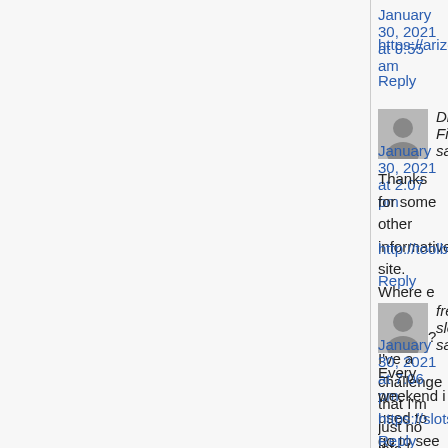January 30, 2021 at 9:55 am
https://arizona.budtrader.com/author/flaresugar4
Reply
Dr.Mek Filler says:
January 30, 2021 at 2:07 pm
Thanks for some other informative site. Where else could I get that kind of info written in such a perfect method? I've a challenge that I'm just now running on, and I've been on the look out for such info.|
http://toolbarqueries.google.ci/url?q=https://doct...
Reply
free slots says:
January 30, 2021 at 7:06 pm
Every weekend i used to go to see this web site, because i wish for enjoyment, since this this web site conations really good funny stuff too.|
https://slotshub.me
Reply